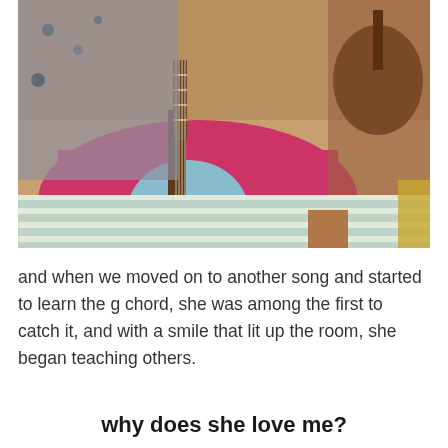[Figure (photo): A person sitting cross-legged playing a light blue ukulele, wearing pink/magenta pants and a patterned top. Another person is partially visible in the background also holding a ukulele. They are sitting on a striped mat.]
and when we moved on to another song and started to learn the g chord, she was among the first to catch it, and with a smile that lit up the room, she began teaching others.
why does she love me?